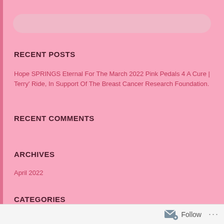[Figure (other): Search bar input field with rounded corners, light pink fill]
RECENT POSTS
Hope SPRINGS Eternal For The March 2022 Pink Pedals 4 A Cure | Terry' Ride, In Support Of The Breast Cancer Research Foundation.
RECENT COMMENTS
ARCHIVES
April 2022
CATEGORIES
Follow ...